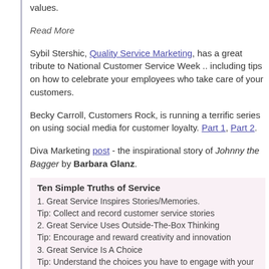values.
Read More
Sybil Stershic, Quality Service Marketing, has a great tribute to National Customer Service Week .. including tips on how to celebrate your employees who take care of your customers.
Becky Carroll, Customers Rock, is running a terrific series on using social media for customer loyalty. Part 1, Part 2.
Diva Marketing post - the inspirational story of Johnny the Bagger by Barbara Glanz.
Ten Simple Truths of Service
1. Great Service Inspires Stories/Memories.
Tip: Collect and record customer service stories
2. Great Service Uses Outside-The-Box Thinking
Tip: Encourage and reward creativity and innovation
3. Great Service Is A Choice
Tip: Understand the choices you have to engage with your customers. Teach employees to look for these touch points.
4. Great Service Starts With A Clear Vision